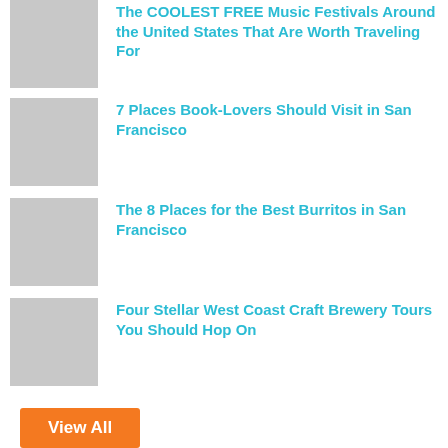The COOLEST FREE Music Festivals Around the United States That Are Worth Traveling For
7 Places Book-Lovers Should Visit in San Francisco
The 8 Places for the Best Burritos in San Francisco
Four Stellar West Coast Craft Brewery Tours You Should Hop On
View All